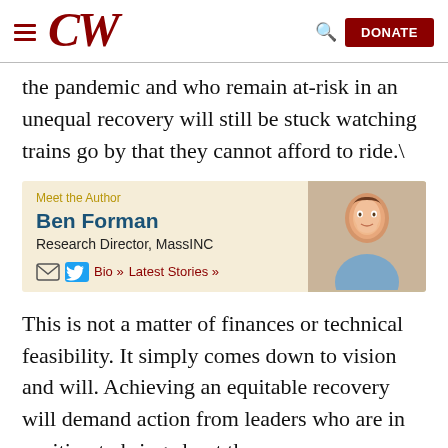CW
the pandemic and who remain at-risk in an unequal recovery will still be stuck watching trains go by that they cannot afford to ride.\
[Figure (other): Meet the Author box featuring Ben Forman, Research Director, MassINC, with photo, email icon, Twitter icon, Bio and Latest Stories links]
This is not a matter of finances or technical feasibility. It simply comes down to vision and will. Achieving an equitable recovery will demand action from leaders who are in position to bring about the necessary